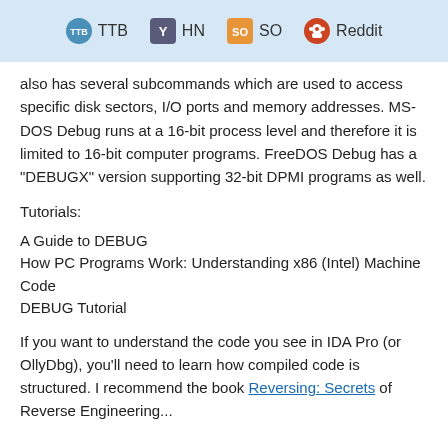TTB | Y HN | SO | Reddit
also has several subcommands which are used to access specific disk sectors, I/O ports and memory addresses. MS-DOS Debug runs at a 16-bit process level and therefore it is limited to 16-bit computer programs. FreeDOS Debug has a "DEBUGX" version supporting 32-bit DPMI programs as well.
Tutorials:
A Guide to DEBUG
How PC Programs Work: Understanding x86 (Intel) Machine Code
DEBUG Tutorial
If you want to understand the code you see in IDA Pro (or OllyDbg), you'll need to learn how compiled code is structured. I recommend the book Reversing: Secrets of Reverse Engineering...